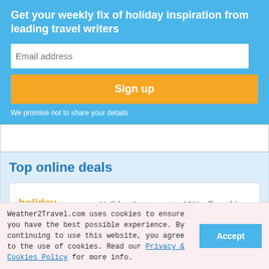Get your weekly fix of holiday inspiration from leading travel writers
Email address
Sign up
We promise not to share your details
Top online deals
[Figure (logo): Holiday Autos logo with orange text and teal car illustration]
Holiday Autos: up to 10% off car hire worldwide
Weather2Travel.com uses cookies to ensure you have the best possible experience. By continuing to use this website, you agree to the use of cookies. Read our Privacy & Cookies Policy for more info.
Accept